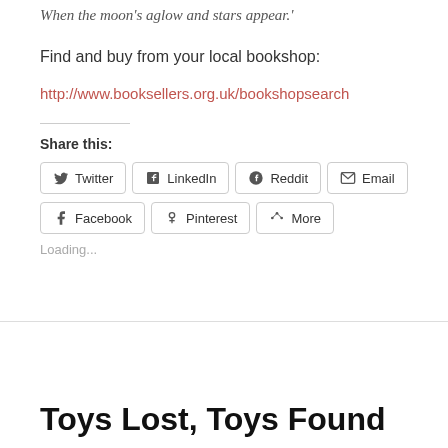When the moon's aglow and stars appear.'
Find and buy from your local bookshop:
http://www.booksellers.org.uk/bookshopsearch
Share this:
Twitter LinkedIn Reddit Email Facebook Pinterest More
Loading...
Toys Lost, Toys Found